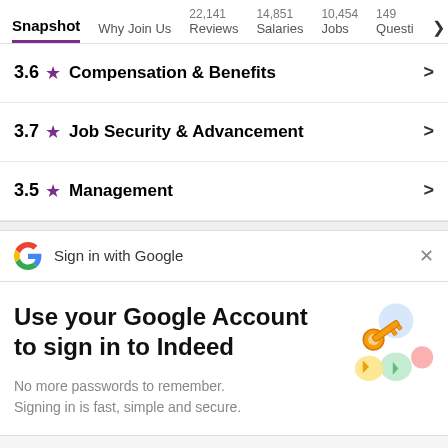Snapshot | Why Join Us | 22,141 Reviews | 14,851 Salaries | 10,454 Jobs | 149 Questi >
3.6 ★ Compensation & Benefits >
3.7 ★ Job Security & Advancement >
3.5 ★ Management >
Sign in with Google
Use your Google Account to sign in to Indeed
No more passwords to remember. Signing in is fast, simple and secure.
[Figure (illustration): Colorful illustration of a golden key surrounded by abstract circular shapes in blue, yellow, green, and red/pink]
Continue